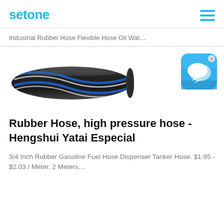setone
Industrial Rubber Hose Flexible Hose Oil Wat…
[Figure (illustration): Chat bubble / messaging app icon with blue gradient background and white speech bubble icons, with a small X close button in the top-right corner]
[Figure (photo): Industrial rubber hose, black with blue and white spiral stripes, shown in a diagonal angle on a white background]
Rubber Hose, high pressure hose - Hengshui Yatai Especial
3/4 Inch Rubber Gasoline Fuel Hose Dispenser Tanker Hose. $1.95 - $2.03 / Meter. 2 Meters…